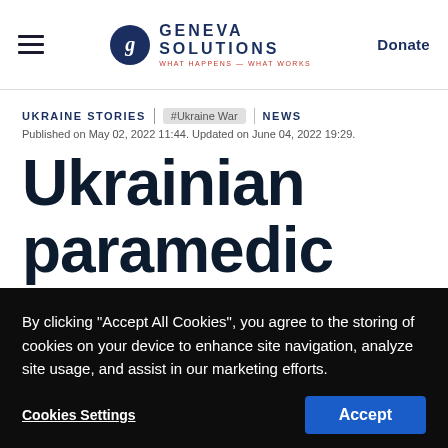Geneva Solutions | Donate
UKRAINE STORIES  #Ukraine War  NEWS
Published on May 02, 2022 11:44. Updated on June 04, 2022 19:29.
Ukrainian paramedic
By clicking “Accept All Cookies”, you agree to the storing of cookies on your device to enhance site navigation, analyze site usage, and assist in our marketing efforts.
Cookies Settings  Accept